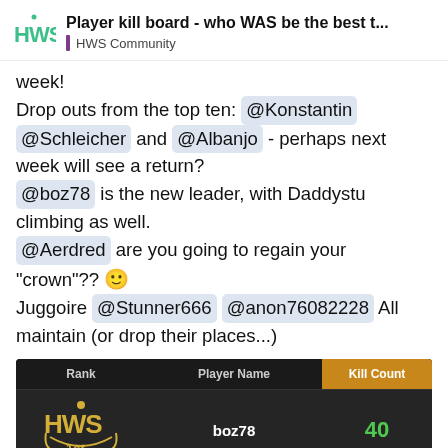Player kill board - who WAS be the best t... | HWS Community
week!
Drop outs from the top ten: @Konstantin @Schleicher and @Albanjo - perhaps next week will see a return?
@boz78 is the new leader, with Daddystu climbing as well.
@Aerdred are you going to regain your "crown"?? 🙂
Juggoire @Stunner666 @anon76082228 All maintain (or drop their places...)
[Figure (screenshot): A dark-themed player kill leaderboard table showing columns: Rank, Player Name, Kill Count. First row shows HWS 1st badge, player boz78, kill count 40. A page indicator shows 5/33. A green circle menu button is visible in the bottom right corner.]